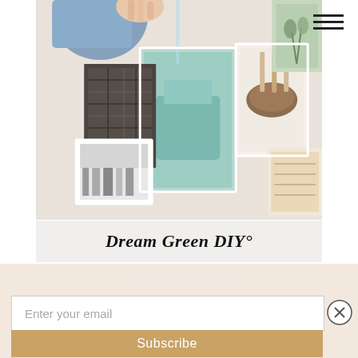[Figure (photo): Person pinning photos and artwork to a wall, creating a mood board with various images including a teal chair, food photography, and other prints]
Dream Green DIY
Join Our DIY Tribe!
Enter your email
Subscribe